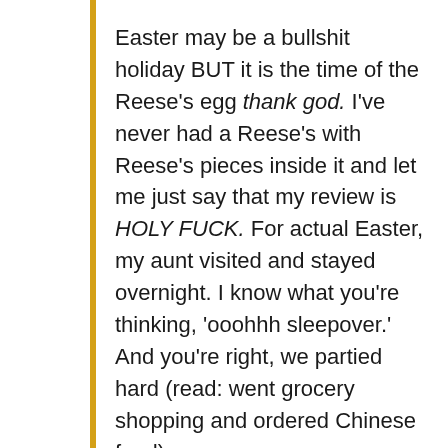Easter may be a bullshit holiday BUT it is the time of the Reese's egg thank god. I've never had a Reese's with Reese's pieces inside it and let me just say that my review is HOLY FUCK. For actual Easter, my aunt visited and stayed overnight. I know what you're thinking, 'ooohhh sleepover.' And you're right, we partied hard (read: went grocery shopping and ordered Chinese food)